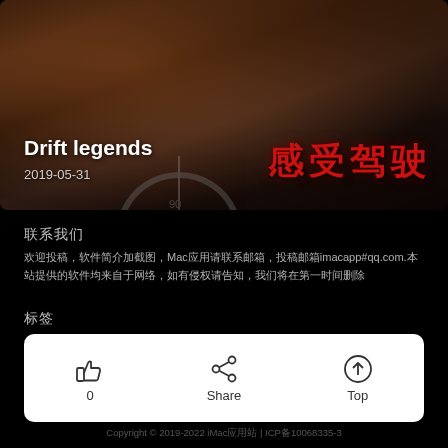[Figure (photo): Hero banner image with dark car/driving theme background, 'Drift legends' title and '感受驾驶' Chinese text in red overlay]
Drift legends
2019-05-31
联系我们
欢迎投稿，软件简介加截图，Mac应用请联系邮箱，投稿邮箱imacapp#qq.com.本站提供的软件均来自于网络，如有侵权请告知，我们将在第一时间删除
标签
推荐 驾驶模拟 模拟驾驶 赛车游戏 漂移游戏 极速驾驶 赛车竞速 漂移竞速 驾驶游戏
0
Share
Top
Copyright © 2019-2022 iMac应用站 | ICP备10068335-3